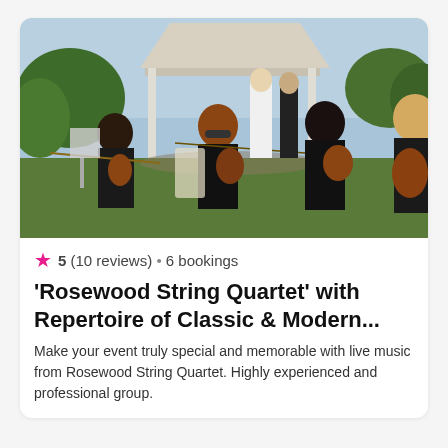[Figure (photo): String quartet musicians playing violins and cello outdoors at a wedding ceremony under a white gazebo, dressed in black, with a bride and groom visible in the background]
★ 5 (10 reviews) • 6 bookings
'Rosewood String Quartet' with Repertoire of Classic & Modern...
Make your event truly special and memorable with live music from Rosewood String Quartet. Highly experienced and professional group.